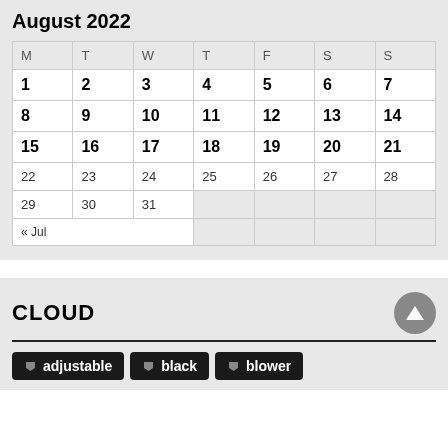August 2022
| M | T | W | T | F | S | S |
| --- | --- | --- | --- | --- | --- | --- |
| 1 | 2 | 3 | 4 | 5 | 6 | 7 |
| 8 | 9 | 10 | 11 | 12 | 13 | 14 |
| 15 | 16 | 17 | 18 | 19 | 20 | 21 |
| 22 | 23 | 24 | 25 | 26 | 27 | 28 |
| 29 | 30 | 31 |  |  |  |  |
| « Jul |  |  |  |  |  |  |
CLOUD
adjustable
black
blower